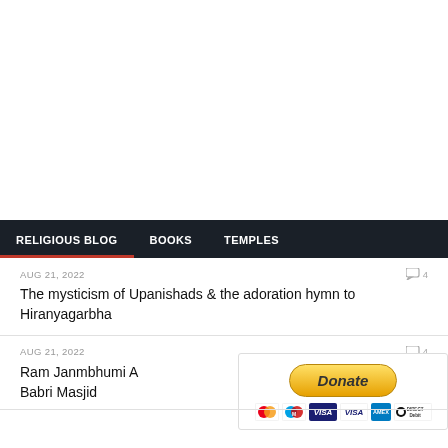RELIGIOUS BLOG   BOOKS   TEMPLES
AUG 21, 2022
The mysticism of Upanishads & the adoration hymn to Hiranyagarbha
AUG 21, 2022
Ram Janmbhumi A... Babri Masjid
[Figure (other): Donate button with PayPal payment options including MasterCard, Maestro, VISA, VISA, American Express, and Direct Debit icons]